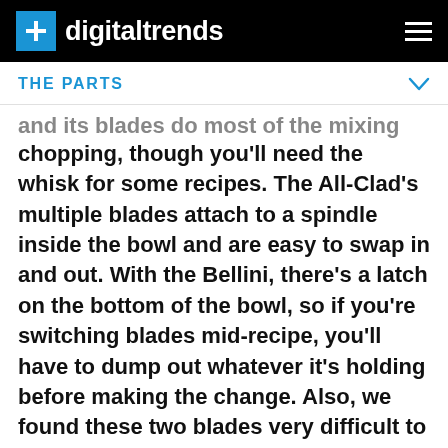digitaltrends
THE PARTS
and its blades do most of the mixing and chopping, though you'll need the whisk for some recipes. The All-Clad's multiple blades attach to a spindle inside the bowl and are easy to swap in and out. With the Bellini, there's a latch on the bottom of the bowl, so if you're switching blades mid-recipe, you'll have to dump out whatever it's holding before making the change. Also, we found these two blades very difficult to tell